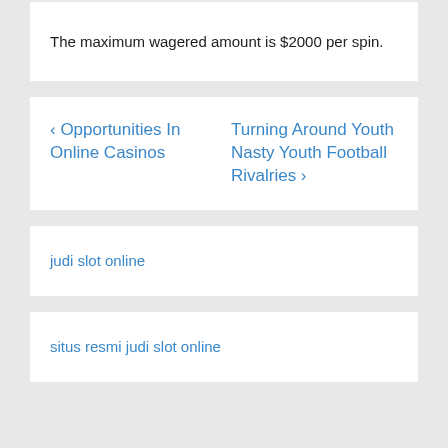The maximum wagered amount is $2000 per spin.
‹ Opportunities In Online Casinos   Turning Around Youth Nasty Youth Football Rivalries ›
judi slot online
situs resmi judi slot online